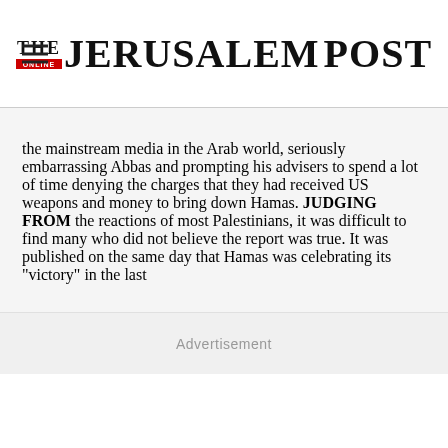THE JERUSALEM POST
the mainstream media in the Arab world, seriously embarrassing Abbas and prompting his advisers to spend a lot of time denying the charges that they had received US weapons and money to bring down Hamas. JUDGING FROM the reactions of most Palestinians, it was difficult to find many who did not believe the report was true. It was published on the same day that Hamas was celebrating its "victory" in the last
Advertisement